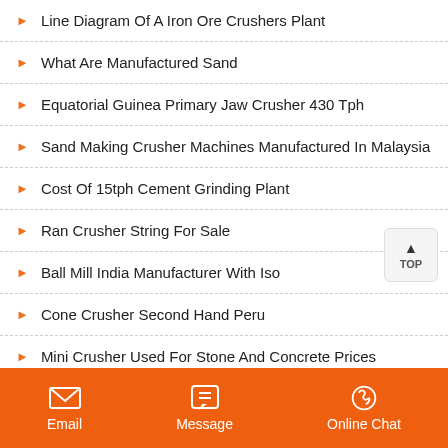Line Diagram Of A Iron Ore Crushers Plant
What Are Manufactured Sand
Equatorial Guinea Primary Jaw Crusher 430 Tph
Sand Making Crusher Machines Manufactured In Malaysia
Cost Of 15tph Cement Grinding Plant
Ran Crusher String For Sale
Ball Mill India Manufacturer With Iso
Cone Crusher Second Hand Peru
Mini Crusher Used For Stone And Concrete Prices
Machinery Stone Crusher
Email  Message  Online Chat